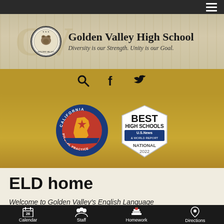[Figure (logo): Golden Valley High School logo with circular seal and school name]
Golden Valley High School
Diversity is our Strength. Unity is our Goal.
[Figure (logo): Social media icons: search, Facebook, Twitter]
[Figure (logo): California Pivotal Practice badge and US News Best High Schools National 2022 badge]
ELD home
Welcome to Golden Valley's English Language...
Calendar  Staff  Homework  Directions